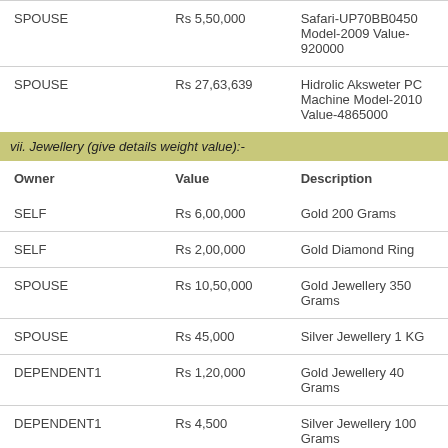| Owner | Value | Description |
| --- | --- | --- |
| SPOUSE | Rs 5,50,000 | Safari-UP70BB0450 Model-2009 Value-920000 |
| SPOUSE | Rs 27,63,639 | Hidrolic Aksweter PC Machine Model-2010 Value-4865000 |
vii. Jewellery (give details weight value):-
| Owner | Value | Description |
| --- | --- | --- |
| SELF | Rs 6,00,000 | Gold 200 Grams |
| SELF | Rs 2,00,000 | Gold Diamond Ring |
| SPOUSE | Rs 10,50,000 | Gold Jewellery 350 Grams |
| SPOUSE | Rs 45,000 | Silver Jewellery 1 KG |
| DEPENDENT1 | Rs 1,20,000 | Gold Jewellery 40 Grams |
| DEPENDENT1 | Rs 4,500 | Silver Jewellery 100 Grams |
| DEPENDENT2 | Rs 80,000 | Gold Jewellery 20 Grams |